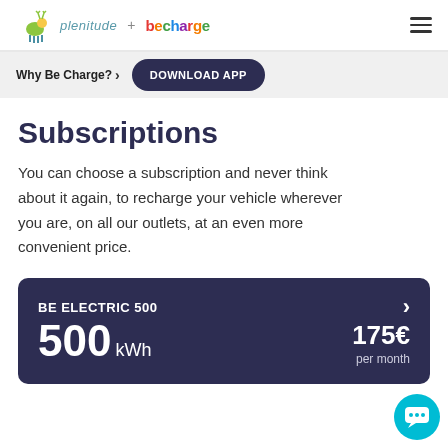[Figure (logo): Plenitude + becharge logo with animal icon on left, hamburger menu on right]
Why Be Charge? > DOWNLOAD APP
Subscriptions
You can choose a subscription and never think about it again, to recharge your vehicle wherever you are, on all our outlets, at an even more convenient price.
BE ELECTRIC 500
500 kWh
175€ per month